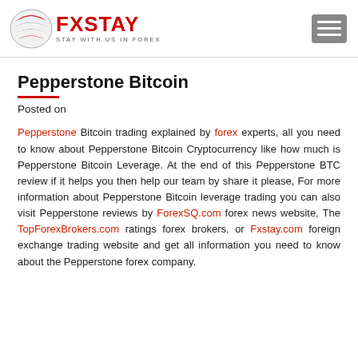FXSTAY — STAY WITH US IN FOREX
Pepperstone Bitcoin
Posted on
Pepperstone Bitcoin trading explained by forex experts, all you need to know about Pepperstone Bitcoin Cryptocurrency like how much is Pepperstone Bitcoin Leverage. At the end of this Pepperstone BTC review if it helps you then help our team by share it please, For more information about Pepperstone Bitcoin leverage trading you can also visit Pepperstone reviews by ForexSQ.com forex news website, The TopForexBrokers.com ratings forex brokers, or Fxstay.com foreign exchange trading website and get all information you need to know about the Pepperstone forex company.